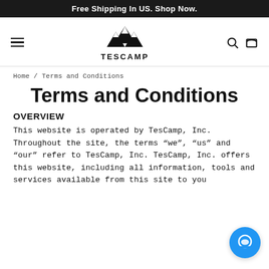Free Shipping In US. Shop Now.
[Figure (logo): Tescamp mountain logo with brand name TESCAMP below]
Home / Terms and Conditions
Terms and Conditions
OVERVIEW
This website is operated by TesCamp, Inc. Throughout the site, the terms “we”, “us” and “our” refer to TesCamp, Inc. TesCamp, Inc. offers this website, including all information, tools and services available from this site to you